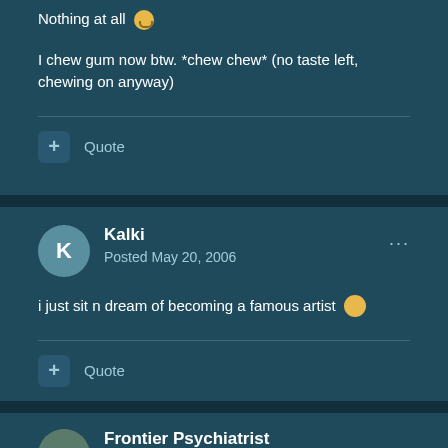Nothing at all 😕
I chew gum now btw. *chew chew* (no taste left, chewing on anyway)
+ Quote
Kalki
Posted May 20, 2006
i just sit n dream of becoming a famous artist 😎
+ Quote
Frontier Psychiatrist